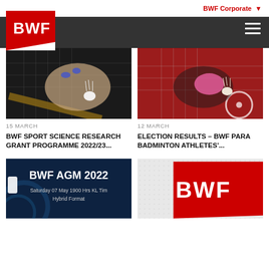BWF Corporate
[Figure (screenshot): BWF logo white on red triangular flag shape, on dark nav bar background]
[Figure (photo): Close-up of a badminton player's hand holding a shuttlecock near a racket]
15 MARCH
BWF SPORT SCIENCE RESEARCH GRANT PROGRAMME 2022/23...
[Figure (photo): Wheelchair para-badminton player holding racket with shuttlecock, red background]
12 MARCH
ELECTION RESULTS – BWF PARA BADMINTON ATHLETES'...
[Figure (illustration): BWF AGM 2022 announcement graphic on dark blue background. Text: BWF AGM 2022, Saturday 07 May 1900 Hrs KL Time, Hybrid Format]
[Figure (logo): BWF logo — white letters on red triangular background on light grey]